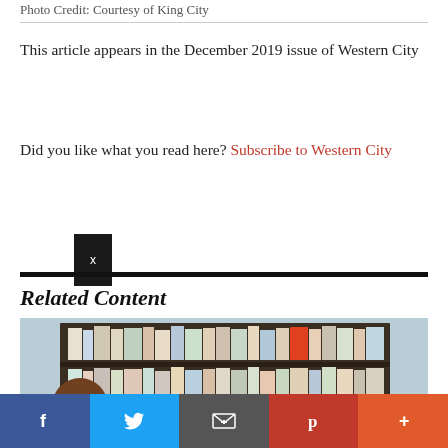Photo Credit: Courtesy of King City
This article appears in the December 2019 issue of Western City
Did you like what you read here? Subscribe to Western City
[Figure (other): Close button (X) overlay element]
Related Content
[Figure (photo): Photo of a library bookshelf with books]
Social share bar: Facebook, Twitter, Email, Pinterest, More